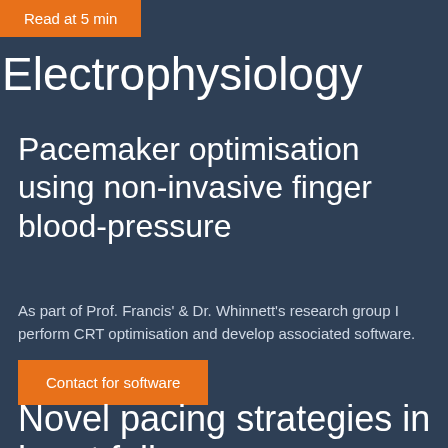Read at 5 min
Electrophysiology
Pacemaker optimisation using non-invasive finger blood-pressure
As part of Prof. Francis' & Dr. Whinnett's research group I perform CRT optimisation and develop associated software.
Contact for software
Novel pacing strategies in heart failure